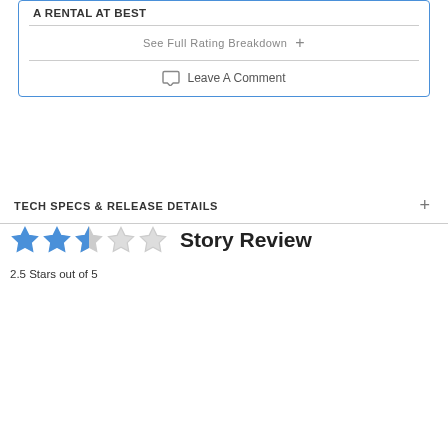A RENTAL AT BEST
See Full Rating Breakdown +
Leave A Comment
TECH SPECS & RELEASE DETAILS +
Story Review
2.5 Stars out of 5